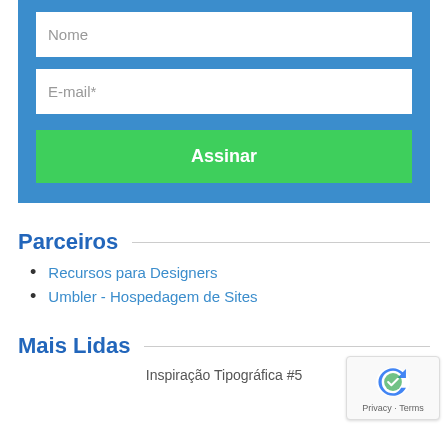[Figure (screenshot): Blue subscription form with Nome and E-mail* text fields and a green Assinar button]
Parceiros
Recursos para Designers
Umbler - Hospedagem de Sites
Mais Lidas
Inspiração Tipográfica #5
[Figure (logo): Google reCAPTCHA badge with Privacy and Terms links]